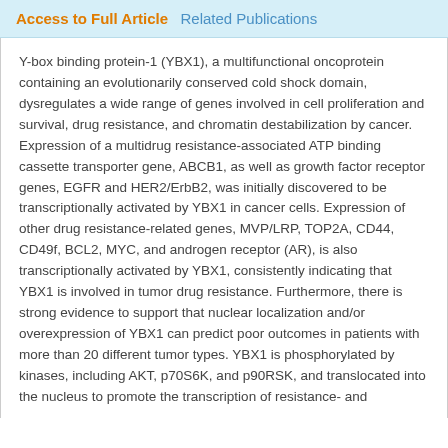Access to Full Article  Related Publications
Y-box binding protein-1 (YBX1), a multifunctional oncoprotein containing an evolutionarily conserved cold shock domain, dysregulates a wide range of genes involved in cell proliferation and survival, drug resistance, and chromatin destabilization by cancer. Expression of a multidrug resistance-associated ATP binding cassette transporter gene, ABCB1, as well as growth factor receptor genes, EGFR and HER2/ErbB2, was initially discovered to be transcriptionally activated by YBX1 in cancer cells. Expression of other drug resistance-related genes, MVP/LRP, TOP2A, CD44, CD49f, BCL2, MYC, and androgen receptor (AR), is also transcriptionally activated by YBX1, consistently indicating that YBX1 is involved in tumor drug resistance. Furthermore, there is strong evidence to support that nuclear localization and/or overexpression of YBX1 can predict poor outcomes in patients with more than 20 different tumor types. YBX1 is phosphorylated by kinases, including AKT, p70S6K, and p90RSK, and translocated into the nucleus to promote the transcription of resistance- and